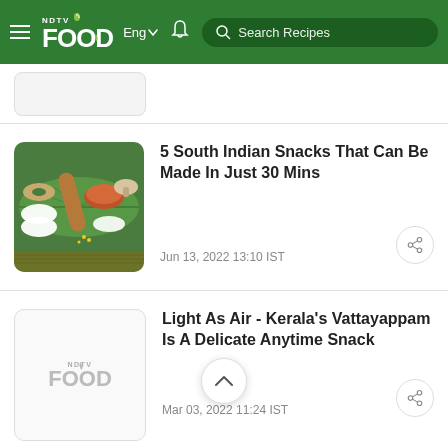NDTV Food — Eng — Search Recipes
[Figure (screenshot): Partial article thumbnail at top, cropped]
[Figure (photo): South Indian snacks on a banana leaf — idli, vada, dosa, sambar, chutneys]
5 South Indian Snacks That Can Be Made In Just 30 Mins
Jun 13, 2022 13:10 IST
[Figure (logo): NDTV Food placeholder logo for missing image]
Light As Air - Kerala's Vattayappam Is A Delicate Anytime Snack
Mar 03, 2022 11:24 IST